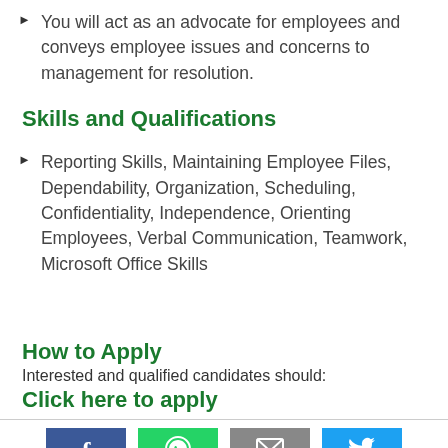You will act as an advocate for employees and conveys employee issues and concerns to management for resolution.
Skills and Qualifications
Reporting Skills, Maintaining Employee Files, Dependability, Organization, Scheduling, Confidentiality, Independence, Orienting Employees, Verbal Communication, Teamwork, Microsoft Office Skills
How to Apply
Interested and qualified candidates should:
Click here to apply